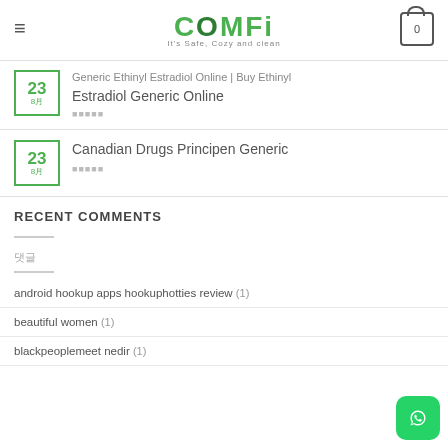COMFI - It's Safe, Cozy and clean
Generic Ethinyl Estradiol Online | Buy Ethinyl Estradiol Generic Online - 23 8月
Canadian Drugs Principen Generic - 23 8月
RECENT COMMENTS
댓글
android hookup apps hookuphotties review (1)
beautiful women (1)
blackpeoplemeet nedir (1)